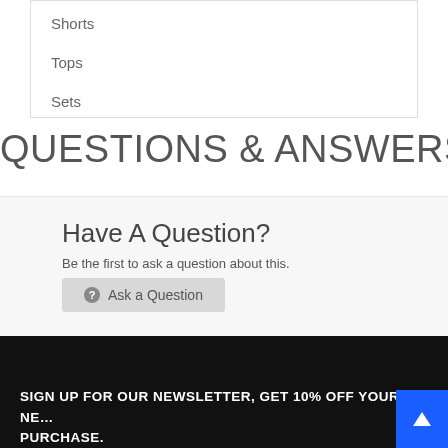Shorts
Tops
Sets
QUESTIONS & ANSWERS
Have A Question?
Be the first to ask a question about this.
Ask a Question
SIGN UP FOR OUR NEWSLETTER, GET 10% OFF YOUR NEXT PURCHASE.